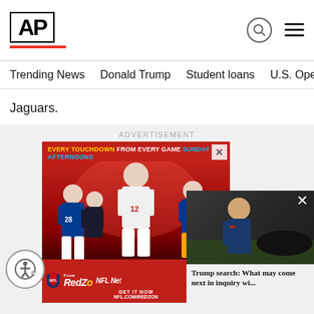[Figure (logo): AP (Associated Press) logo in black bold text with red underbar, plus search icon and hamburger menu]
Trending News   Donald Trump   Student loans   U.S. Open Tenn
Jaguars.
ADVERTISEMENT
[Figure (photo): NFL RedZone advertisement: red background with football players, NFL shield logo, RedZone text, 'EVERY TOUCHDOWN FROM EVERY GAME SUNDAY AFTERNOONS', 'GET IT NOW NFL.COM/REDZON']
[Figure (screenshot): Popup video overlay showing Trump in dark outdoor setting with headline: 'Trump search: What may come next in inquiry wi...']